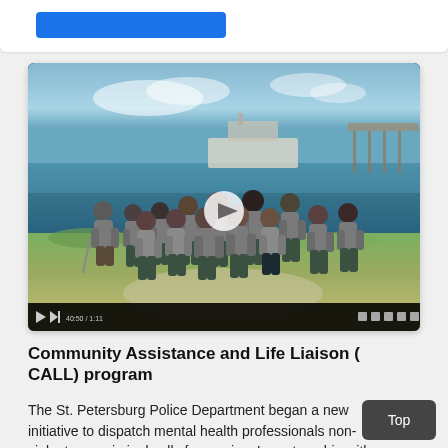[Figure (photo): Group photo of approximately 14 people wearing matching grey polo shirts standing outdoors near a waterfront with a pier and blue sky in the background. A video player control bar is visible at the bottom of the image.]
Community Assistance and Life Liaison (CALL) program
The St. Petersburg Police Department began a new initiative to dispatch mental health professionals non-violent non-criminal calls for service. In partnership with Gulf Coast JFCS, the Community